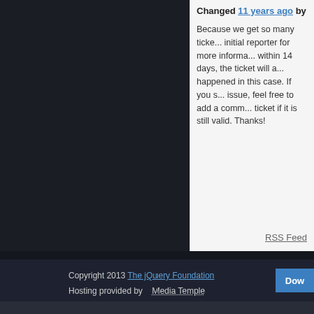Changed 11 years ago by
Because we get so many tickets, we often need to ask the initial reporter for more information. If we do not hear back within 14 days, the ticket will a... happened in this case. If you s... issue, feel free to add a comm... ticket if it is still valid. Thanks!
RSS Feed
Copyright 2013 The jQuery Foundation
Hosting provided by   Media Temple
CDN provided by   MaxCDN
Dow